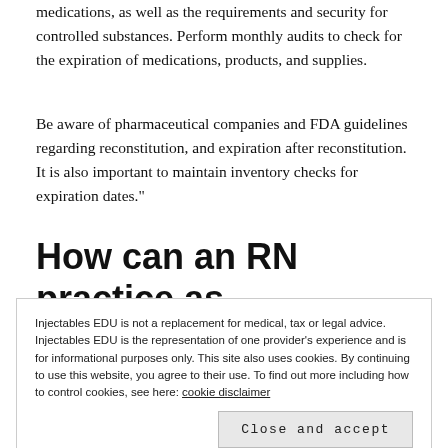medications, as well as the requirements and security for controlled substances. Perform monthly audits to check for the expiration of medications, products, and supplies.
Be aware of pharmaceutical companies and FDA guidelines regarding reconstitution, and expiration after reconstitution. It is also important to maintain inventory checks for expiration dates."
How can an RN practice as
Injectables EDU is not a replacement for medical, tax or legal advice. Injectables EDU is the representation of one provider's experience and is for informational purposes only. This site also uses cookies. By continuing to use this website, you agree to their use. To find out more including how to control cookies, see here: cookie disclaimer
Close and accept
compliant?